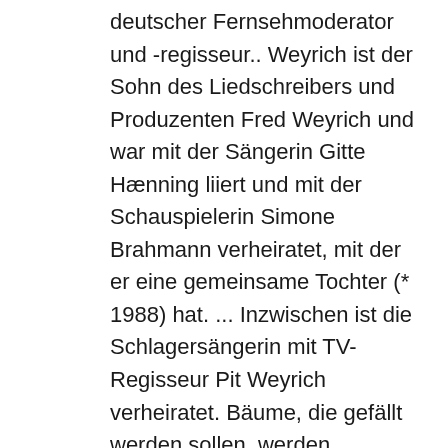deutscher Fernsehmoderator und -regisseur.. Weyrich ist der Sohn des Liedschreibers und Produzenten Fred Weyrich und war mit der Sängerin Gitte Hænning liiert und mit der Schauspielerin Simone Brahmann verheiratet, mit der er eine gemeinsame Tochter (* 1988) hat. ... Inzwischen ist die Schlagersängerin mit TV-Regisseur Pit Weyrich verheiratet. Bäume, die gefällt werden sollen, werden markiert. Filmografie (Auswahl) 1969: Hurra, die Schule brennt! In aller Freundschaft-Star Isabel Varell: Ich habe gelernt, ... Offenbar sind Sophie Turner und Joe Jonas schon vor einigen Tagen Eltern einer Tochter geworden. Regie: Pit Weyrich. Weyrich war mit der Sängerin Gitte Hænning liiert und mit der Schauspielerin Simone Brahmann